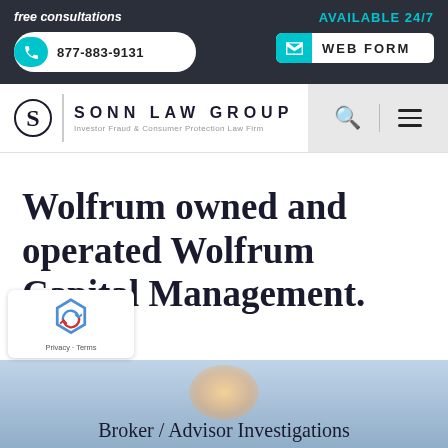free consultations | AVAILABLE 24/7 | 877-883-9131 | WEB FORM
[Figure (logo): Sonn Law Group logo with circular S emblem and text: SONN LAW GROUP, Investor Fraud & Consumer Protection Law Firm]
Wolfrum owned and operated Wolfrum Capital Management.
Broker / Advisor Investigations